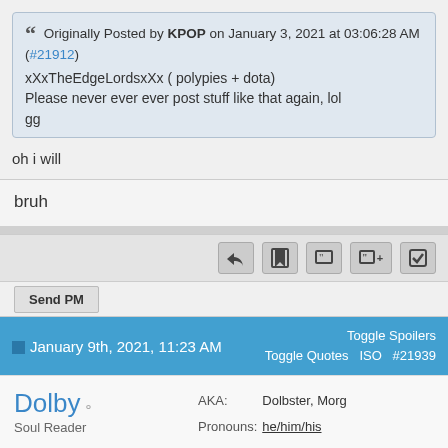Originally Posted by KPOP on January 3, 2021 at 03:06:28 AM (#21912)
xXxTheEdgeLordsxXx ( polypies + dota)
Please never ever ever post stuff like that again, lol
gg
oh i will
bruh
Send PM
January 9th, 2021, 11:23 AM   Toggle Spoilers Toggle Quotes ISO #21939
Dolby
Soul Reader
AKA: Dolbster, Morg
Pronouns: he/him/his
Gender: ♂
Originally Posted by dota on January 9, 2021   (Collapse)